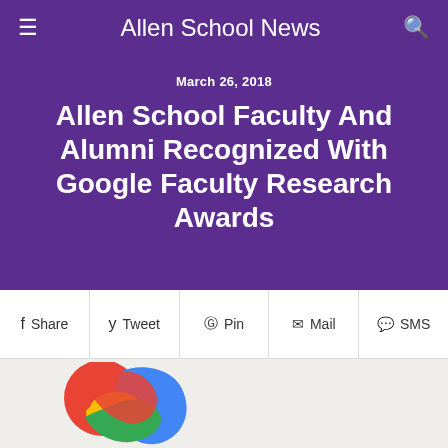Allen School News
March 26, 2018
Allen School Faculty And Alumni Recognized With Google Faculty Research Awards
Share  Tweet  Pin  Mail  SMS
[Figure (logo): Google interlinked colored loops logo in red, blue, yellow, and green]